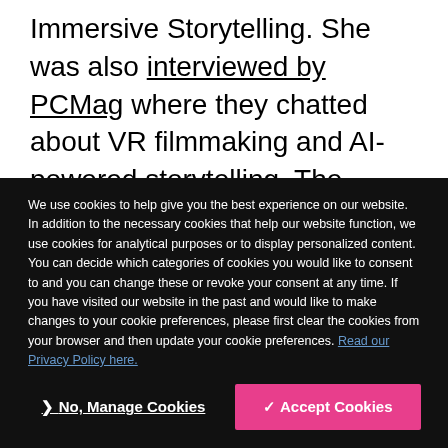Immersive Storytelling. She was also interviewed by PCMag where they chatted about VR filmmaking and AI-powered storytelling. The article also included a GitHub link to the EmoPy code developed during her residency.
We use cookies to help give you the best experience on our website. In addition to the necessary cookies that help our website function, we use cookies for analytical purposes or to display personalized content. You can decide which categories of cookies you would like to consent to and you can change these or revoke your consent at any time. If you have visited our website in the past and would like to make changes to your cookie preferences, please first clear the cookies from your browser and then update your cookie preferences. Read our Privacy Policy here.
No, Manage Cookies | Accept Cookies